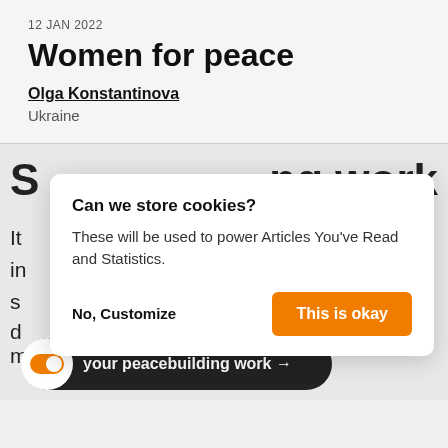12 JAN 2022
Women for peace
Olga Konstantinova
Ukraine
[Figure (screenshot): Cookie consent dialog with title 'Can we store cookies?', body text 'These will be used to power Articles You've Read and Statistics.', a 'No, Customize' text link and an orange 'This is okay' button. Behind the dialog is a partially visible webpage section with large bold text 'ng work' and body text fragments about peacebuilding, plus a dark rounded CTA button bar with an orange toggle icon and text 'your peacebuilding work →'.]